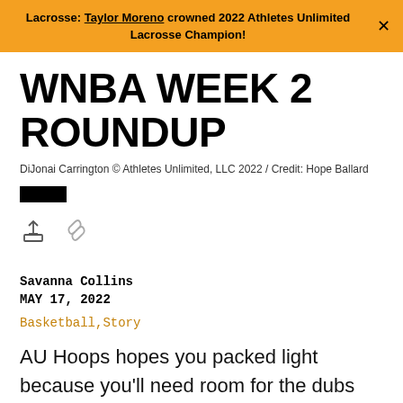Lacrosse: Taylor Moreno crowned 2022 Athletes Unlimited Lacrosse Champion!
WNBA WEEK 2 ROUNDUP
DiJonai Carrington © Athletes Unlimited, LLC 2022 / Credit: Hope Ballard
Savanna Collins
MAY 17, 2022
Basketball, Story
AU Hoops hopes you packed light because you'll need room for the dubs picked up on this road trip.